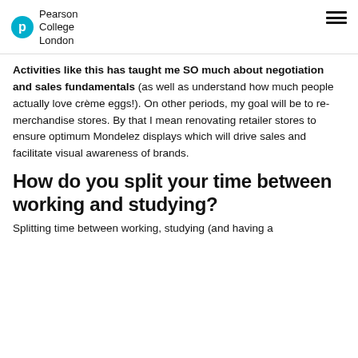Pearson College London
Activities like this has taught me SO much about negotiation and sales fundamentals (as well as understand how much people actually love crème eggs!). On other periods, my goal will be to re-merchandise stores. By that I mean renovating retailer stores to ensure optimum Mondelez displays which will drive sales and facilitate visual awareness of brands.
How do you split your time between working and studying?
Splitting time between working, studying (and having a